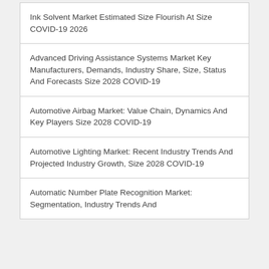Ink Solvent Market Estimated Size Flourish At Size COVID-19 2026
Advanced Driving Assistance Systems Market Key Manufacturers, Demands, Industry Share, Size, Status And Forecasts Size 2028 COVID-19
Automotive Airbag Market: Value Chain, Dynamics And Key Players Size 2028 COVID-19
Automotive Lighting Market: Recent Industry Trends And Projected Industry Growth, Size 2028 COVID-19
Automatic Number Plate Recognition Market: Segmentation, Industry Trends And